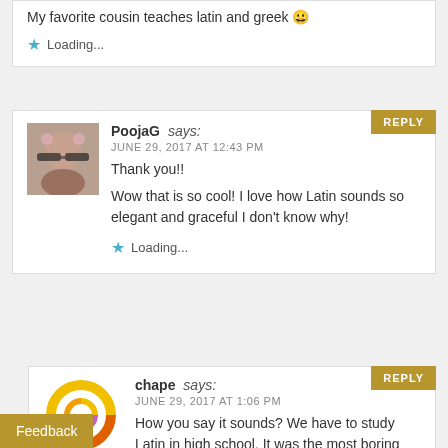My favorite cousin teaches latin and greek 😀
Loading...
PoojaG says:
JUNE 29, 2017 AT 12:43 PM
Thank you!!
Wow that is so cool! I love how Latin sounds so elegant and graceful I don't know why!
Loading...
chape says:
JUNE 29, 2017 AT 1:06 PM
How you say it sounds? We have to study Latin in high school. It was the most boring subject ever 😢 and we all were so bad